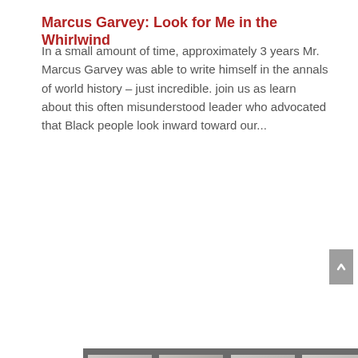Marcus Garvey: Look for Me in the Whirlwind
In a small amount of time, approximately 3 years Mr. Marcus Garvey was able to write himself in the annals of world history – just incredible. join us as learn about this often misunderstood leader who advocated that Black people look inward toward our...
[Figure (photo): A grid of 8 black-and-white police department mug shots arranged in 2 rows of 4. Each photo shows an individual holding a placard from Police Dept. Jackson, Miss. Numbers visible: 21046, 21044, 21048, 21041 (top row); 21043, 21049, 21042, 21057 (bottom row). Photos appear to be civil rights era Freedom Riders arrest photographs.]